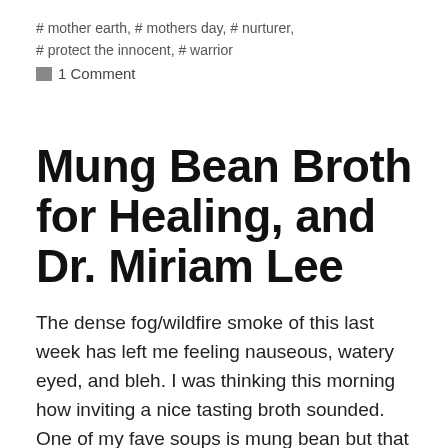# mother earth, # mothers day, # nurturer, # protect the innocent, # warrior
1 Comment
Mung Bean Broth for Healing, and Dr. Miriam Lee
The dense fog/wildfire smoke of this last week has left me feeling nauseous, watery eyed, and bleh. I was thinking this morning how inviting a nice tasting broth sounded. One of my fave soups is mung bean but that sounded too heavy. I